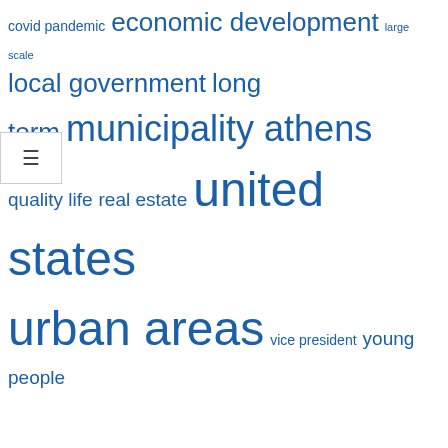[Figure (other): Word cloud with blue tags including: covid pandemic, economic development, large scale, local government, long term, municipality athens, quality life, real estate, united states, urban areas, vice president, young people]
RECENT POSTS
Macomb Community Action receives $1 million to fight poverty – Macomb Daily
Tianjin to host China Conference on Internet Civilization in 2022
Nangarhar municipality collects 272 million afs revenue last year – Pajhwok Afghan News
Dobyville Neighborhood Reunion Celebrates Memories of Tampa's Close-Knit African-American Community
Community spirit and natural landscapes define the quality of life on the Saanich Peninsula